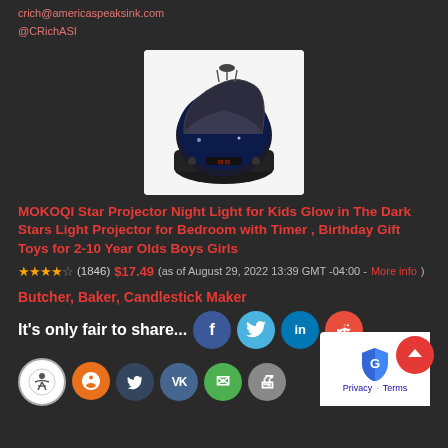crich@americaspeaksink.com
@CRichASI
[Figure (photo): MOKOQI Star Projector Night Light device - a dome-shaped black projector with glowing star patterns displayed on a white background]
MOKOQI Star Projector Night Light for Kids Glow in The Dark Stars Light Projector for Bedroom with Timer , Birthday Gift Toys for 2-10 Year Olds Boys Girls
★★★★☆ (1846) $17.49 (as of August 29, 2022 13:39 GMT -04:00 - More info)
Butcher, Baker, Candlestick Maker
It's only fair to share...